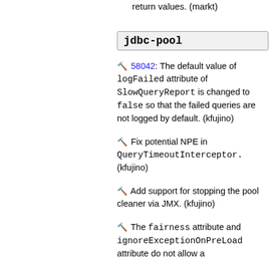return values. (markt)
jdbc-pool
🔨 58042: The default value of logFailed attribute of SlowQueryReport is changed to false so that the failed queries are not logged by default. (kfujino)
🔨 Fix potential NPE in QueryTimeoutInterceptor. (kfujino)
🔨 Add support for stopping the pool cleaner via JMX. (kfujino)
🔨 The fairness attribute and ignoreExceptionOnPreLoad attribute do not allow a